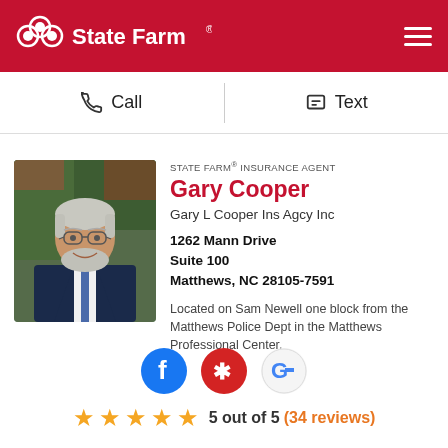State Farm
Call  Text
[Figure (photo): Headshot of Gary Cooper, an older man with gray hair and beard wearing glasses and a dark suit with blue tie, outdoors with green foliage in background]
STATE FARM® INSURANCE AGENT
Gary Cooper
Gary L Cooper Ins Agcy Inc
1262 Mann Drive
Suite 100
Matthews, NC 28105-7591
Located on Sam Newell one block from the Matthews Police Dept in the Matthews Professional Center.
[Figure (logo): Facebook, Yelp, and Google social media icons]
5 out of 5  (34 reviews)